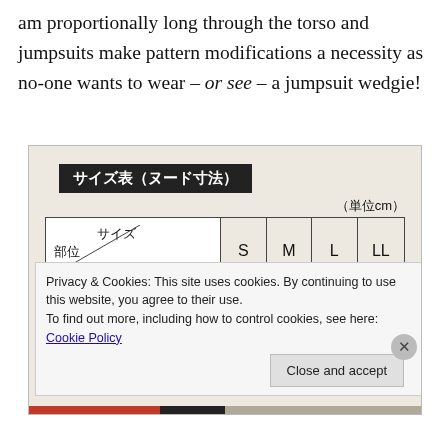am proportionally long through the torso and jumpsuits make pattern modifications a necessity as no-one wants to wear – or see – a jumpsuit wedgie!
[Figure (table-as-image): Japanese size table (ヌード寸法 = nude measurements) showing sizes S, M, L, LL for ウエスト (waist) and ヒップ (hip) in cm]
Privacy & Cookies: This site uses cookies. By continuing to use this website, you agree to their use. To find out more, including how to control cookies, see here: Cookie Policy